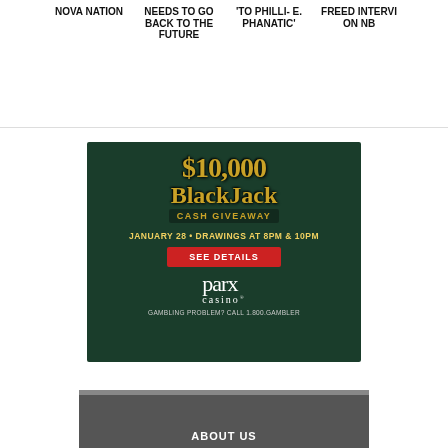NOVA NATION
NEEDS TO GO BACK TO THE FUTURE
TO PHILLI- E. PHANATIC'
FREED INTERVI ON NB
[Figure (photo): Parx Casino $10,000 BlackJack Cash Giveaway advertisement. Dark green background with gold text. January 28, Drawings at 8PM & 10PM. Red 'SEE DETAILS' button. Parx Casino logo. Gambling Problem? Call 1.800.GAMBLER.]
ABOUT US